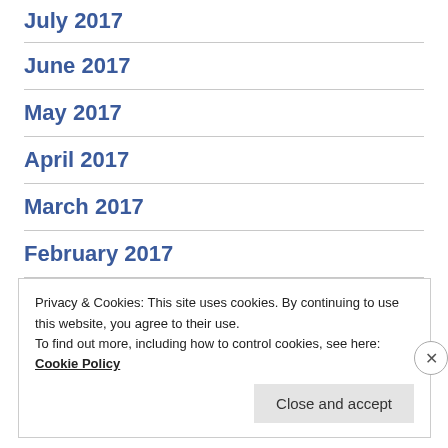July 2017
June 2017
May 2017
April 2017
March 2017
February 2017
January 2017
December 2016
Privacy & Cookies: This site uses cookies. By continuing to use this website, you agree to their use.
To find out more, including how to control cookies, see here: Cookie Policy
Close and accept